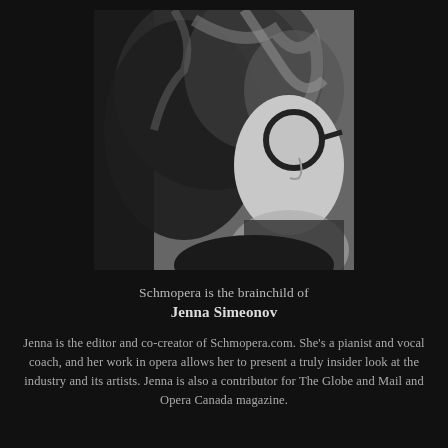[Figure (photo): Black and white close-up photo of a woman with curly hair and round glasses, shown in profile/three-quarter view against a light background.]
Schmopera is the brainchild of
Jenna Simeonov
Jenna is the editor and co-creator of Schmopera.com. She's a pianist and vocal coach, and her work in opera allows her to present a truly insider look at the industry and its artists. Jenna is also a contributor for The Globe and Mail and Opera Canada magazine.